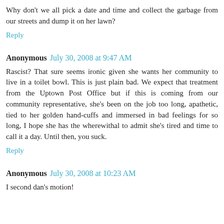Why don't we all pick a date and time and collect the garbage from our streets and dump it on her lawn?
Reply
Anonymous  July 30, 2008 at 9:47 AM
Rascist? That sure seems ironic given she wants her community to live in a toilet bowl. This is just plain bad. We expect that treatment from the Uptown Post Office but if this is coming from our community representative, she's been on the job too long, apathetic, tied to her golden hand-cuffs and immersed in bad feelings for so long, I hope she has the wherewithal to admit she's tired and time to call it a day. Until then, you suck.
Reply
Anonymous  July 30, 2008 at 10:23 AM
I second dan's motion!